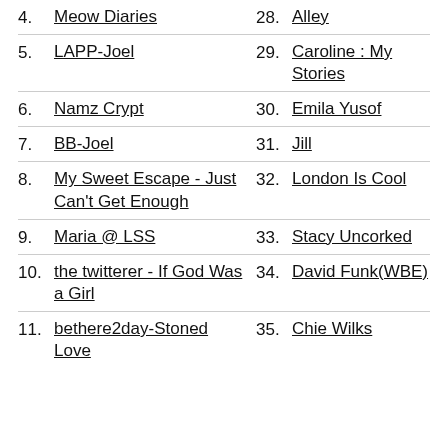4. Meow Diaries
28. Alley
5. LAPP-Joel
29. Caroline : My Stories
6. Namz Crypt
30. Emila Yusof
7. BB-Joel
31. Jill
8. My Sweet Escape - Just Can't Get Enough
32. London Is Cool
9. Maria @ LSS
33. Stacy Uncorked
10. the twitterer - If God Was a Girl
34. David Funk(WBE)
11. bethere2day-Stoned Love
35. Chie Wilks